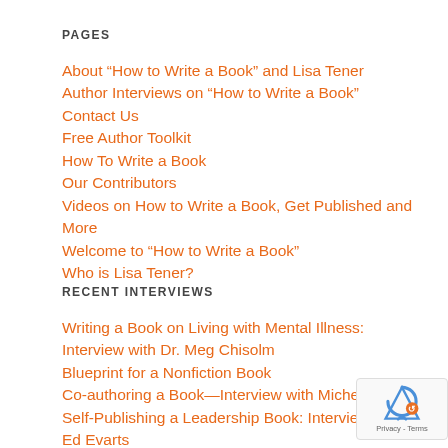PAGES
About “How to Write a Book” and Lisa Tener
Author Interviews on “How to Write a Book”
Contact Us
Free Author Toolkit
How To Write a Book
Our Contributors
Videos on How to Write a Book, Get Published and More
Welcome to “How to Write a Book”
Who is Lisa Tener?
RECENT INTERVIEWS
Writing a Book on Living with Mental Illness: Interview with Dr. Meg Chisolm
Blueprint for a Nonfiction Book
Co-authoring a Book—Interview with Michelle H
Self-Publishing a Leadership Book: Interview with Ed Evarts